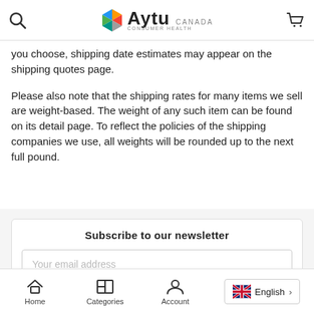Aytu Canada Consumer Health - navigation bar with search and cart
you choose, shipping date estimates may appear on the shipping quotes page.
Please also note that the shipping rates for many items we sell are weight-based. The weight of any such item can be found on its detail page. To reflect the policies of the shipping companies we use, all weights will be rounded up to the next full pound.
Subscribe to our newsletter
Your email address
Home  Categories  Account  English